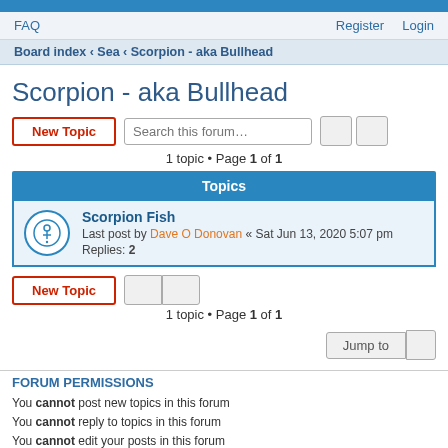FAQ   Register   Login
Board index ‹ Sea ‹ Scorpion - aka Bullhead
Scorpion - aka Bullhead
1 topic • Page 1 of 1
Topics
Scorpion Fish
Last post by Dave O Donovan « Sat Jun 13, 2020 5:07 pm
Replies: 2
1 topic • Page 1 of 1
FORUM PERMISSIONS
You cannot post new topics in this forum
You cannot reply to topics in this forum
You cannot edit your posts in this forum
You cannot delete your posts in this forum
You cannot post attachments in this forum